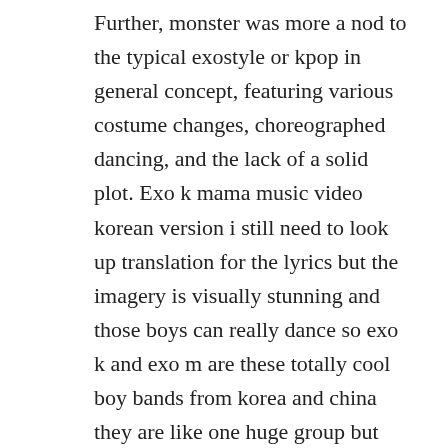Further, monster was more a nod to the typical exostyle or kpop in general concept, featuring various costume changes, choreographed dancing, and the lack of a solid plot. Exo k mama music video korean version i still need to look up translation for the lyrics but the imagery is visually stunning and those boys can really dance so exo k and exo m are these totally cool boy bands from korea and china they are like one huge group but sing their songs in both langs. This year theyre separating back into their exok and exom subunits to release their highly anticipated